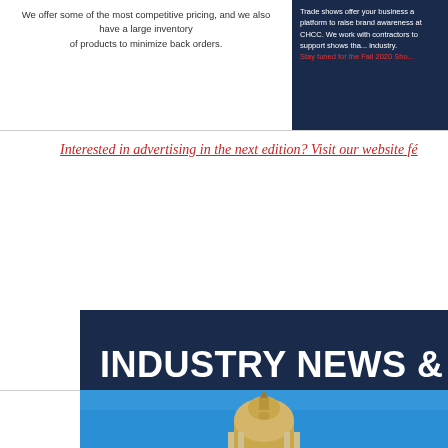We offer some of the most competitive pricing, and we also have a large inventory of products to minimize back orders.
Trade shows offer your business a platform to raise brand awareness at CHCC. We work with contractors to support shows that benefit the industry. Stay tuned for the Fall 2020 Show...
Interested in advertising in the next edition? Visit our website f...
INDUSTRY NEWS & AR...
[Figure (photo): Photo of a government capitol building dome with golden top against a blue sky, viewed from below.]